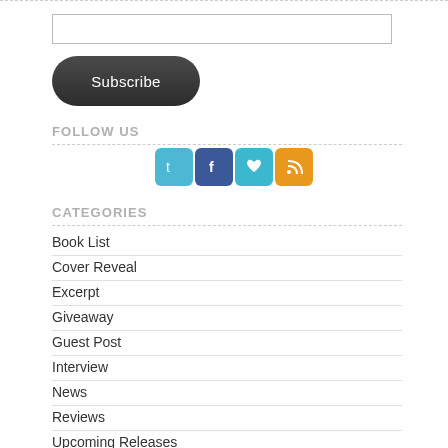[Figure (other): Email input text field]
[Figure (other): Subscribe button (dark rounded pill shape)]
FOLLOW US
[Figure (other): Social media icons: Twitter (blue bird), Facebook (blue f), Heart (teal), RSS (orange)]
CATEGORIES
Book List
Cover Reveal
Excerpt
Giveaway
Guest Post
Interview
News
Reviews
Upcoming Releases